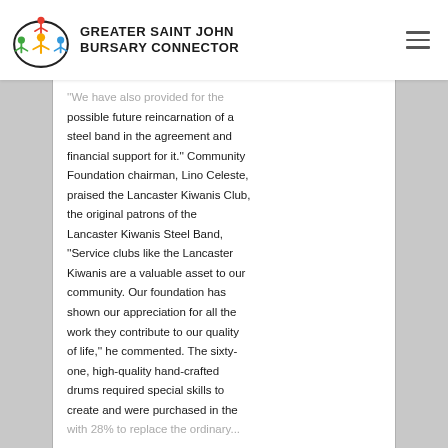GREATER SAINT JOHN BURSARY CONNECTOR
"We have also provided for the possible future reincarnation of a steel band in the agreement and financial support for it.'' Community Foundation chairman, Lino Celeste, praised the Lancaster Kiwanis Club, the original patrons of the Lancaster Kiwanis Steel Band, ''Service clubs like the Lancaster Kiwanis are a valuable asset to our community. Our foundation has shown our appreciation for all the work they contribute to our quality of life,'' he commented. The sixty-one, high-quality hand-crafted drums required special skills to create and were purchased in the